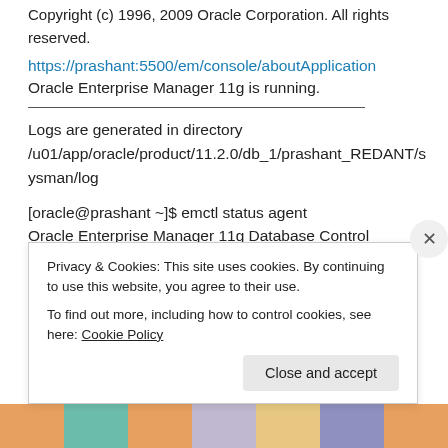Copyright (c) 1996, 2009 Oracle Corporation. All rights reserved.
https://prashant:5500/em/console/aboutApplication
Oracle Enterprise Manager 11g is running.
Logs are generated in directory /u01/app/oracle/product/11.2.0/db_1/prashant_REDANT/sysman/log
[oracle@prashant ~]$ emctl status agent
Oracle Enterprise Manager 11g Database Control Release 11.2.0.1.0
Privacy & Cookies: This site uses cookies. By continuing to use this website, you agree to their use.
To find out more, including how to control cookies, see here: Cookie Policy
Close and accept